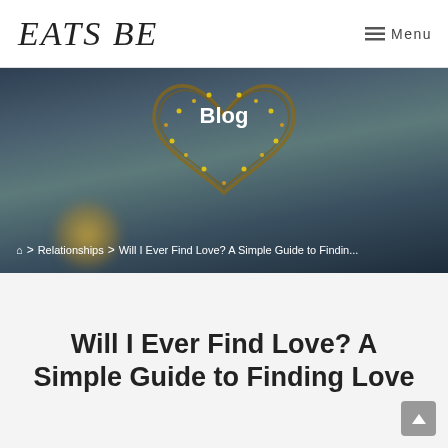EATS BEST · Menu
[Figure (photo): Blog header hero image showing a heart-shaped wire decoration with fairy lights against a blurred dark blue/teal ocean background. Text 'Blog' is overlaid in white. Breadcrumb navigation shows: Home > Relationships > Will I Ever Find Love? A Simple Guide to Findin...]
Will I Ever Find Love? A Simple Guide to Finding Love